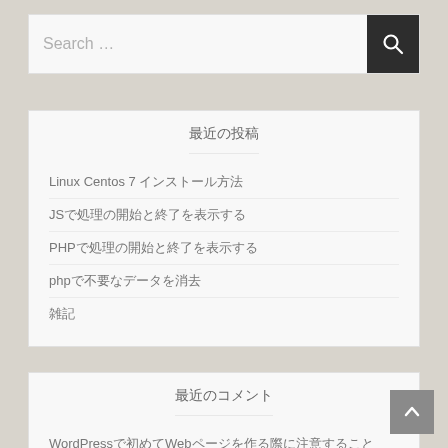Search …
最近の投稿
Linux Centos 7 インストール方法
JSで処理の開始と終了を表示する
PHPで処理の開始と終了を表示する
phpで不要なデータを消去
雑記
最近のコメント
WordPressで初めてWebページを作る際に注意すること
アーカイブ